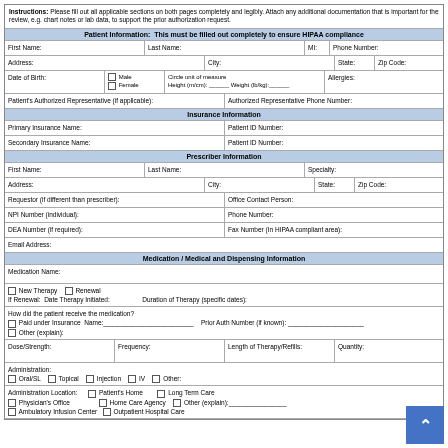Instructions: Please fill out all applicable sections on both pages completely and legibly. Attach any additional documentation that is important for the review, e.g. chart notes or lab data, to support the prior authorization request.
Patient Information: This must be filled out completely to ensure HIPAA compliance
| First Name: | Last Name: | MI: | Phone Number: |
| --- | --- | --- | --- |
|  |
| Address: | City: | State: | Zip Code: |
| --- | --- | --- | --- |
|  |
| Date of Birth: | Male / Female | Circle unit of measure Height (m/cm): ___ Weight (lb/kg): ___ | Allergies: |
| --- | --- | --- | --- |
|  |
| Patient's Authorized Representative (if applicable): | Authorized Representative Phone Number: |
| --- | --- |
|  |
Insurance Information
| Primary Insurance Name: | Patient ID Number: |
| --- | --- |
|  |
| Secondary Insurance Name: | Patient ID Number: |
| --- | --- |
|  |
Prescriber Information
| First Name: | Last Name: | Specialty: |
| --- | --- | --- |
|  |
| Address: | City: | State: | Zip Code: |
| --- | --- | --- | --- |
|  |
| Requestor (if different than prescriber): | Office Contact Person: |
| --- | --- |
|  |
| NPI Number (individual): | Phone Number: |
| --- | --- |
|  |
| DEA Number (if required): | Fax Number (In HIPAA compliant area): |
| --- | --- |
|  |
| Email Address: |
| --- |
|  |
Medication / Medical and Dispensing Information
| Medication Name: |
| --- |
|  |
| New Therapy / Renewal | If Renewal: Date Therapy Initiated: | Duration of Therapy (specific dates): |
| --- | --- | --- |
|  |
| How did the patient receive the medication? | Paid under Insurance Name: ___ | Prior Auth Number (if known): ___ | Other (explain): |
| --- | --- | --- | --- |
|  |
| Dose/Strength: | Frequency: | Length of Therapy/Refills: | Quantity: |
| --- | --- | --- | --- |
|  |
| Administration: | Oral/SL | Topical | Injection | IV | Other: |
| --- | --- | --- | --- | --- | --- |
|  |
| Administration Location: | Patient's Home | Long Term Care | Physician's Office | Home Care Agency | Other (explain): ___ | Ambulatory Infusion Center | Outpatient Hospital Care |
| --- | --- | --- | --- | --- | --- | --- | --- |
|  |